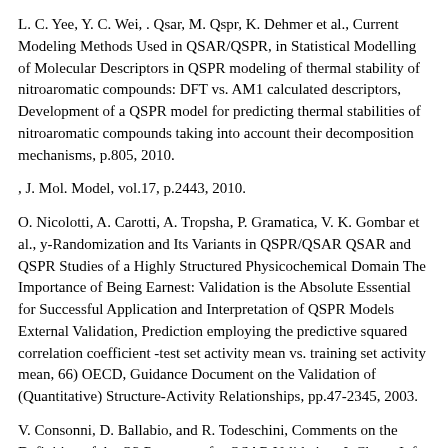L. C. Yee, Y. C. Wei, . Qsar, M. Qspr, K. Dehmer et al., Current Modeling Methods Used in QSAR/QSPR, in Statistical Modelling of Molecular Descriptors in QSPR modeling of thermal stability of nitroaromatic compounds: DFT vs. AM1 calculated descriptors, Development of a QSPR model for predicting thermal stabilities of nitroaromatic compounds taking into account their decomposition mechanisms, p.805, 2010.
, J. Mol. Model, vol.17, p.2443, 2010.
O. Nicolotti, A. Carotti, A. Tropsha, P. Gramatica, V. K. Gombar et al., y-Randomization and Its Variants in QSPR/QSAR QSAR and QSPR Studies of a Highly Structured Physicochemical Domain The Importance of Being Earnest: Validation is the Absolute Essential for Successful Application and Interpretation of QSPR Models External Validation, Prediction employing the predictive squared correlation coefficient -test set activity mean vs. training set activity mean, 66) OECD, Guidance Document on the Validation of (Quantitative) Structure-Activity Relationships, pp.47-2345, 2003.
V. Consonni, D. Ballabio, and R. Todeschini, Comments on the Definition of the Q2 Parameter for QSAR Validation, J. Chem. Inf. Model, pp.49-1669, 2009.
J. K. Luo…, A. Correlation Coefficients, Factors to…